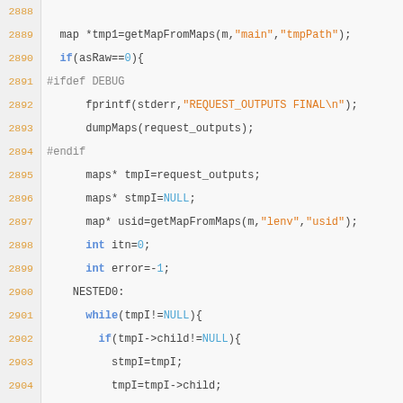[Figure (screenshot): Source code listing in C, lines 2888-2914, with line numbers in orange on left and code on dark background. Code shows map/maps operations, debug preprocessor blocks, nested while loop, and commented-out code.]